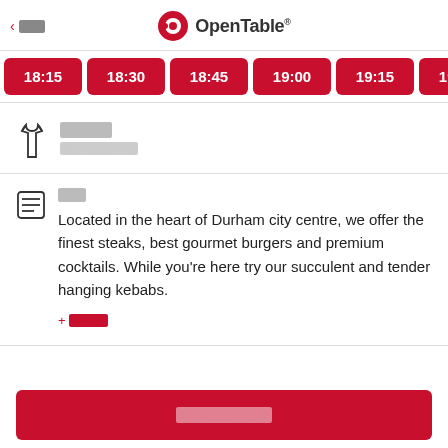< 뒤로 | OpenTable
18:15
18:30
18:45
19:00
19:15
19:30
19:45
[redacted] [redacted]
[redacted]
Located in the heart of Durham city centre, we offer the finest steaks, best gourmet burgers and premium cocktails. While you're here try our succulent and tender hanging kebabs.
+ [redacted]
[redacted]